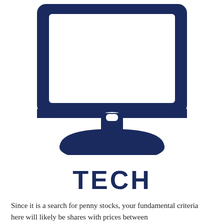[Figure (illustration): Dark navy blue computer monitor icon with a white screen area, sitting on a stand/base shaped like a dome with a connector neck piece. The monitor has rounded corners and a thick bezel. The stand has a small rectangular neck and a wide semi-circular base.]
TECH
Since it is a search for penny stocks, your fundamental criteria here will likely be shares with prices between